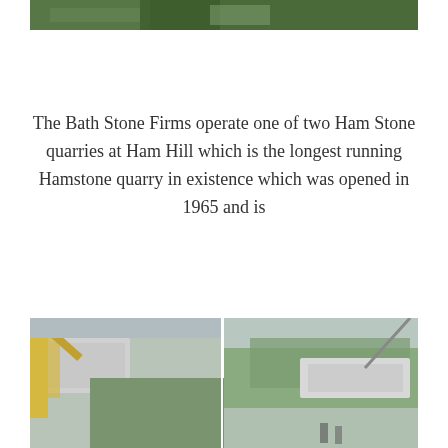[Figure (photo): Top portion of a quarry or construction site photo showing green machinery and timber/stone materials, cropped at the top of the page.]
The Bath Stone Firms operate one of two Ham Stone quarries at Ham Hill which is the longest running Hamstone quarry in existence which was opened in 1965 and is
[Figure (photo): Bottom construction site photo showing concrete beams or slabs being lifted by cranes, with workers and wooded hillside visible in the background. The image is split into two panels.]